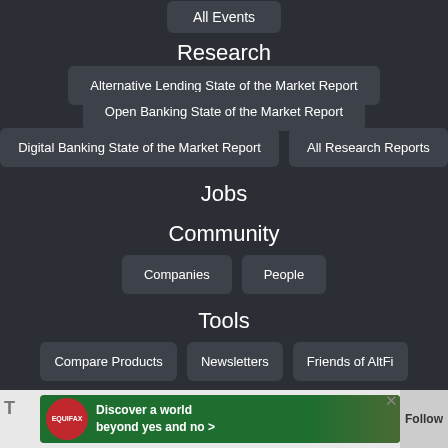All Events
Research
Alternative Lending State of the Market Report
Open Banking State of the Market Report
Digital Banking State of the Market Report
All Research Reports
Jobs
Community
Companies
People
Tools
Compare Products
Newsletters
Friends of AltFi
[Figure (screenshot): Equifax advertisement banner: red circular logo with 'EQUIFAX' text, green background, bold white text reading 'Discover a world beyond yes and no >', decorative coffee beans image on right side, with Follow button and close X button.]